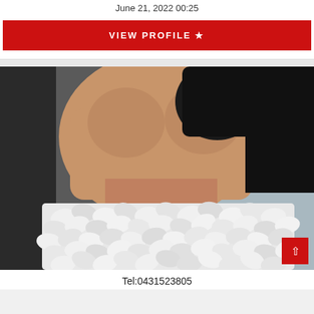June 21, 2022 00:25
VIEW PROFILE ★
[Figure (photo): Person wearing a white floral/petal textured top, photographed from torso up, partial body shot]
Tel:0431523805